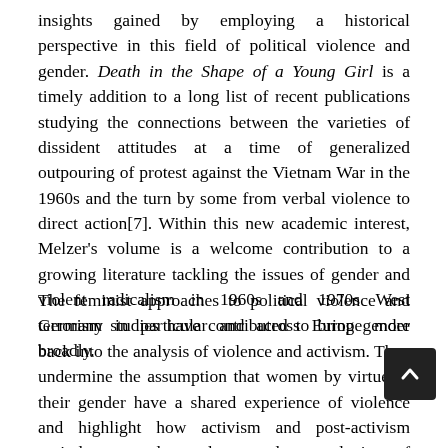insights gained by employing a historical perspective in this field of political violence and gender. Death in the Shape of a Young Girl is a timely addition to a long list of recent publications studying the connections between the varieties of dissident attitudes at a time of generalized outpouring of protest against the Vietnam War in the 1960s and the turn by some from verbal violence to direct action[7]. Within this new academic interest, Melzer's volume is a welcome contribution to a growing literature tackling the issues of gender and violent radicalism in 1960s and 1970s West Germany in particular and across Europe more broadly.
The feminist approaches to political violence and terrorism studies have contributed to bring gender back into the analysis of violence and activism. They undermine the assumption that women by virtue of their gender have a shared experience of violence and highlight how activism and post-activism periods can be understood as products and sites of (re)production of gender issues, social and political inequality. In spite of